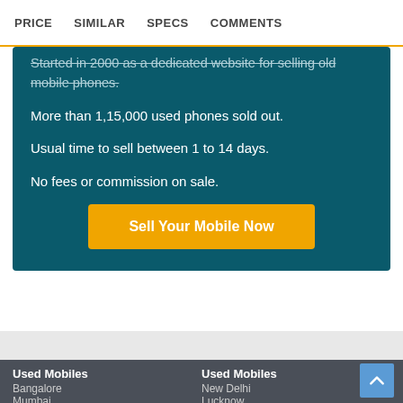PRICE   SIMILAR   SPECS   COMMENTS
Started in 2000 as a dedicated website for selling old mobile phones.
More than 1,15,000 used phones sold out.
Usual time to sell between 1 to 14 days.
No fees or commission on sale.
Sell Your Mobile Now
Used Mobiles
Bangalore
Mumbai
Used Mobiles
New Delhi
Lucknow